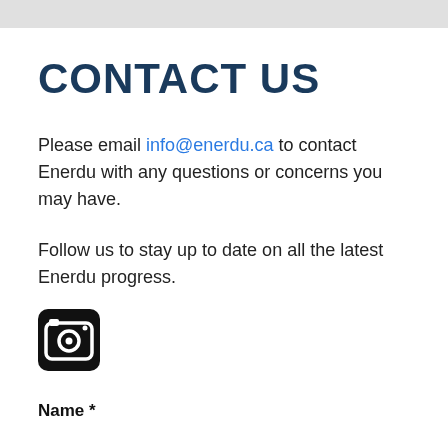CONTACT US
Please email info@enerdu.ca to contact Enerdu with any questions or concerns you may have.
Follow us to stay up to date on all the latest Enerdu progress.
[Figure (logo): Instagram camera icon, black rounded square with camera symbol]
Name *